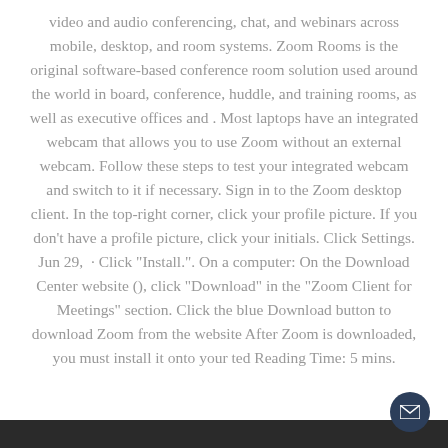video and audio conferencing, chat, and webinars across mobile, desktop, and room systems. Zoom Rooms is the original software-based conference room solution used around the world in board, conference, huddle, and training rooms, as well as executive offices and . Most laptops have an integrated webcam that allows you to use Zoom without an external webcam. Follow these steps to test your integrated webcam and switch to it if necessary. Sign in to the Zoom desktop client. In the top-right corner, click your profile picture. If you don't have a profile picture, click your initials. Click Settings. Jun 29,  · Click "Install.". On a computer: On the Download Center website (), click "Download" in the "Zoom Client for Meetings" section. Click the blue Download button to download Zoom from the website After Zoom is downloaded, you must install it onto your ted Reading Time: 5 mins.